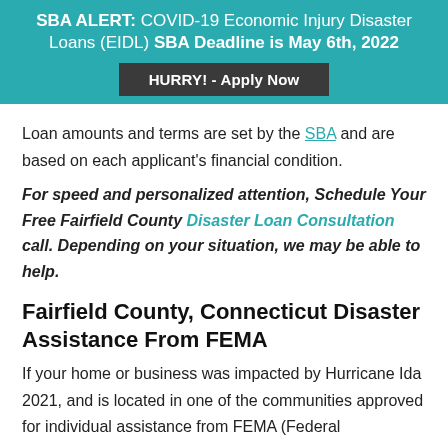SBA ALERT: COVID-19 Economic Injury Disaster Loans (EIDL) SBA Deadline is May 6th, 2022
HURRY! - Apply Now
Loan amounts and terms are set by the SBA and are based on each applicant's financial condition.
For speed and personalized attention, Schedule Your Free Fairfield County Disaster Loan Consultation call. Depending on your situation, we may be able to help.
Fairfield County, Connecticut Disaster Assistance From FEMA
If your home or business was impacted by Hurricane Ida 2021, and is located in one of the communities approved for individual assistance from FEMA (Federal